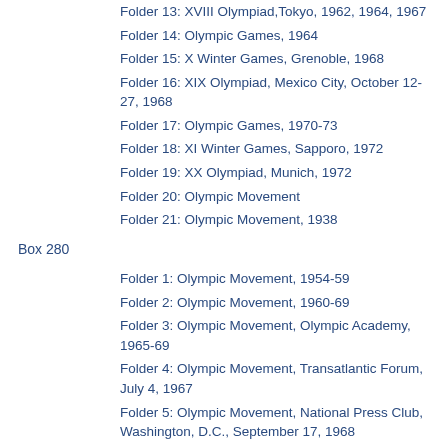Folder 13: XVIII Olympiad,Tokyo, 1962, 1964, 1967
Folder 14: Olympic Games, 1964
Folder 15: X Winter Games, Grenoble, 1968
Folder 16: XIX Olympiad, Mexico City, October 12-27, 1968
Folder 17: Olympic Games, 1970-73
Folder 18: XI Winter Games, Sapporo, 1972
Folder 19: XX Olympiad, Munich, 1972
Folder 20: Olympic Movement
Folder 21: Olympic Movement, 1938
Box 280
Folder 1: Olympic Movement, 1954-59
Folder 2: Olympic Movement, 1960-69
Folder 3: Olympic Movement, Olympic Academy, 1965-69
Folder 4: Olympic Movement, Transatlantic Forum, July 4, 1967
Folder 5: Olympic Movement, National Press Club, Washington, D.C., September 17, 1968
Folder 6: Olympic Movement, Olympic Academy, 1970-71
Folder 7: Olympic Movement, 1972